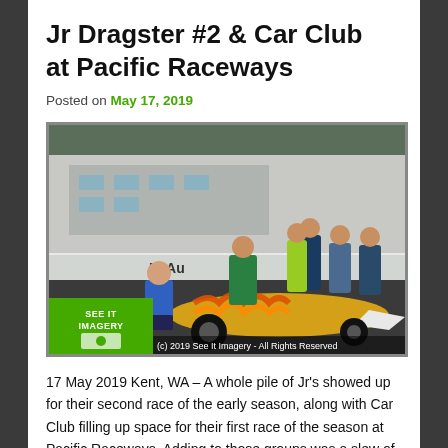Jr Dragster #2 & Car Club at Pacific Raceways
Posted on May 17, 2019
[Figure (photo): Photo of a jr dragster with flame graphics on a drag strip. People in blue and green shirts crouch near the car. Several officials stand in background. Watermark: See It Imagery. Copyright: (c) 2019 See It Imagery - All Rights Reserved]
17 May 2019 Kent, WA – A whole pile of Jr's showed up for their second race of the early season, along with Car Club filling up space for their first race of the season at Pacific Raceways. Adding to those groups was a slew of